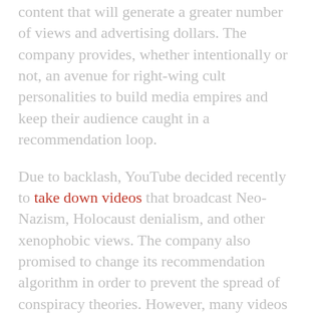content that will generate a greater number of views and advertising dollars. The company provides, whether intentionally or not, an avenue for right-wing cult personalities to build media empires and keep their audience caught in a recommendation loop.
Due to backlash, YouTube decided recently to take down videos that broadcast Neo-Nazism, Holocaust denialism, and other xenophobic views. The company also promised to change its recommendation algorithm in order to prevent the spread of conspiracy theories. However, many videos continue to dodge YouTube's Community Guidelines that ban hate speech and harassment, turning the removal of content into a never ending game of whack-a-mole. As seen with Facebook